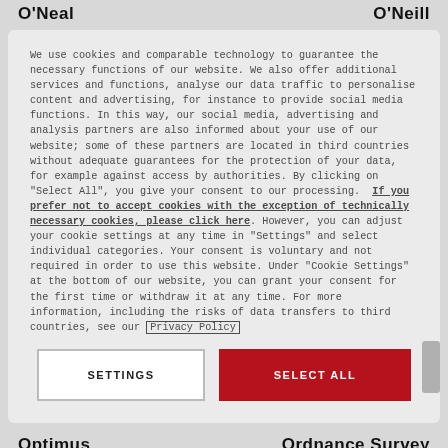O'Neal   O'Neill
We use cookies and comparable technology to guarantee the necessary functions of our website. We also offer additional services and functions, analyse our data traffic to personalise content and advertising, for instance to provide social media functions. In this way, our social media, advertising and analysis partners are also informed about your use of our website; some of these partners are located in third countries without adequate guarantees for the protection of your data, for example against access by authorities. By clicking on "Select All", you give your consent to our processing. If you prefer not to accept cookies with the exception of technically necessary cookies, please click here. However, you can adjust your cookie settings at any time in "Settings" and select individual categories. Your consent is voluntary and not required in order to use this website. Under "Cookie Settings" at the bottom of our website, you can grant your consent for the first time or withdraw it at any time. For more information, including the risks of data transfers to third countries, see our Privacy Policy
SETTINGS
SELECT ALL
Optimus   Ordnance Survey